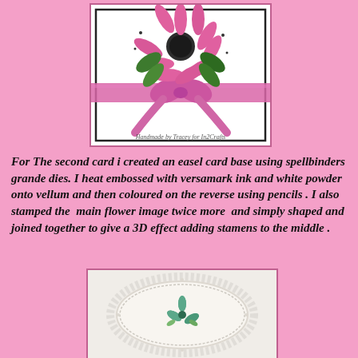[Figure (photo): A handmade greeting card with pink flower (echinacea/coneflower) stamped image, green leaves, and a pink organza ribbon bow tied across a white card front with black border. Caption reads 'Handmade by Tracey for In2Crafts'.]
For The second card i created an easel card base using spellbinders grande dies. I heat embossed with versamark ink and white powder onto vellum and then coloured on the reverse using pencils . I also stamped the  main flower image twice more  and simply shaped and joined together to give a 3D effect adding stamens to the middle .
[Figure (photo): A white easel card with an oval lace-edged frame die cut, with a small teal/blue flower stamped in the center on a cream background.]